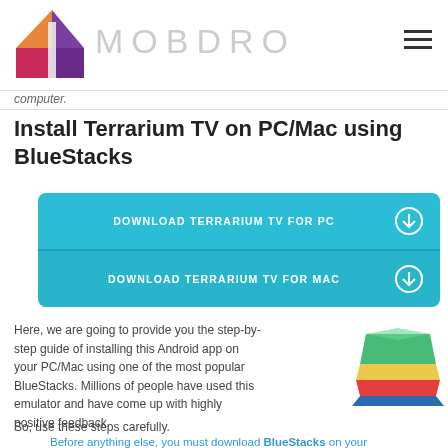MOBDRO
computer.
Install Terrarium TV on PC/Mac using BlueStacks
[Figure (screenshot): Two cyan/teal download buttons: 'DOWNLOAD TERRARIUM TV FOR PC' and 'DOWNLOAD TERRARIUM TV FOR MAC', each with a circular download icon on the right]
Here, we are going to provide you the step-by-step guide of installing this Android app on your PC/Mac using one of the most popular BlueStacks. Millions of people have used this emulator and have come up with highly positive feedback.
[Figure (logo): BlueStacks logo - colorful stacked layers in green, yellow, red, blue]
So, use these steps carefully.
Before anything else, you must download BlueStacks on your